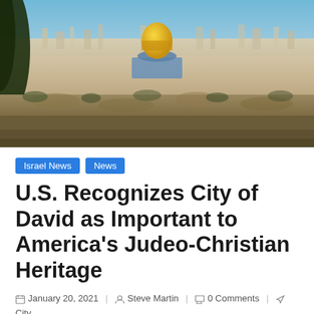[Figure (photo): Aerial/panoramic view of Jerusalem showing the Dome of the Rock with its golden dome, city buildings, and rocky terrain in the foreground. Tree foliage visible at left edge.]
Israel News   News
U.S. Recognizes City of David as Important to America's Judeo-Christian Heritage
January 20, 2021   Steve Martin   0 Comments   City of David, Israel